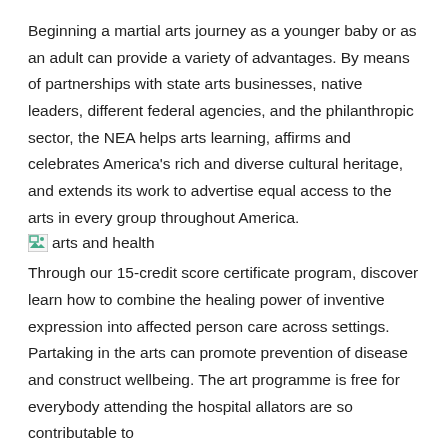Beginning a martial arts journey as a younger baby or as an adult can provide a variety of advantages. By means of partnerships with state arts businesses, native leaders, different federal agencies, and the philanthropic sector, the NEA helps arts learning, affirms and celebrates America's rich and diverse cultural heritage, and extends its work to advertise equal access to the arts in every group throughout America.
[Figure (illustration): Broken image placeholder icon followed by text 'arts and health']
Through our 15-credit score certificate program, discover learn how to combine the healing power of inventive expression into affected person care across settings. Partaking in the arts can promote prevention of disease and construct wellbeing. The art programme is free for everybody attending the hospital allators are so contributable to